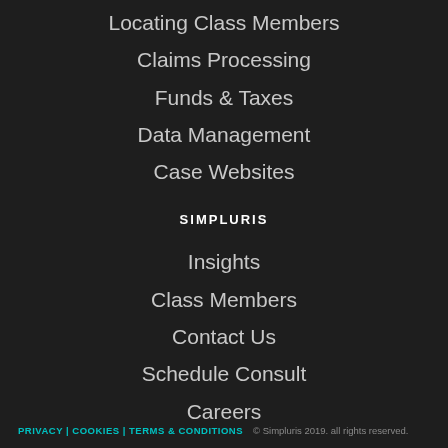Locating Class Members
Claims Processing
Funds & Taxes
Data Management
Case Websites
SIMPLURIS
Insights
Class Members
Contact Us
Schedule Consult
Careers
PRIVACY | COOKIES | TERMS & CONDITIONS   © Simpluris 2019. all rights reserved.